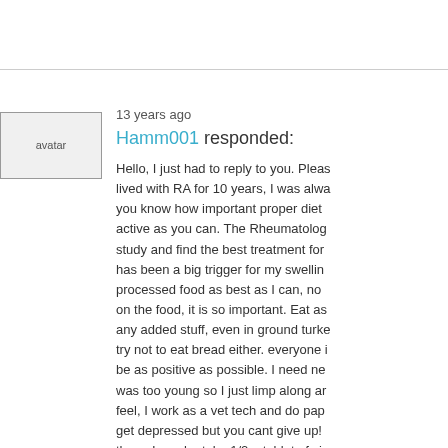13 years ago
Hamm001 responded:
[Figure (photo): User avatar placeholder image]
Hello, I just had to reply to you. Please know I have lived with RA for 10 years, I was always wanting to let you know how important proper diet is and staying as active as you can. The Rheumatologist is always going to study and find the best treatment for you. Sugar intake has been a big trigger for my swelling, I try not to eat processed food as best as I can, no chemicals added on the food, it is so important. Eat as natural as you can, any added stuff, even in ground turkey, read labels, I try not to eat bread either. everyone is different but try to be as positive as possible. I need new hips and knees but was too young so I just limp along and deal with how I feel, I work as a vet tech and do paperwork when I get depressed but you cant give up! I still have to take them, I may take 1/2 a tablet of vicodin when it gets real bad, I know its hard and it makes you sad, deal with it and offer support, remember small things like pump bottles for shampoo and bath soap, if you are down, use your elbow to get out of the bath if you can, finding a way to do something..lol. Don't let it control your life, only someone that has your disease understands, don't understand the pain we go through every day but we gotta get to tomorrow, the pain will lessen, the food thing, it might surprise you. I hope this helps, allow your heart to get it back on track.